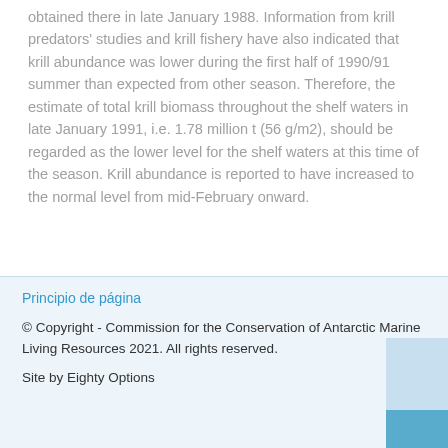obtained there in late January 1988. Information from krill predators' studies and krill fishery have also indicated that krill abundance was lower during the first half of 1990/91 summer than expected from other season. Therefore, the estimate of total krill biomass throughout the shelf waters in late January 1991, i.e. 1.78 million t (56 g/m2), should be regarded as the lower level for the shelf waters at this time of the season. Krill abundance is reported to have increased to the normal level from mid-February onward.
Principio de página
© Copyright - Commission for the Conservation of Antarctic Marine Living Resources 2021. All rights reserved.
Site by Eighty Options